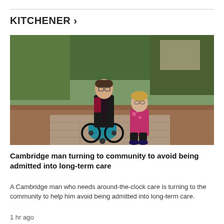KITCHENER >
[Figure (photo): A man in a black robe seated in a power wheelchair and a woman in a pink floral top crouching beside him, outdoors on a brick path with trees and mulch in the background.]
Cambridge man turning to community to avoid being admitted into long-term care
A Cambridge man who needs around-the-clock care is turning to the community to help him avoid being admitted into long-term care.
1 hr ago